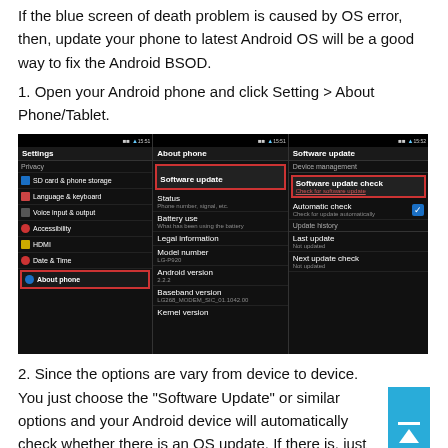If the blue screen of death problem is caused by OS error, then, update your phone to latest Android OS will be a good way to fix the Android BSOD.
1. Open your Android phone and click Setting > About Phone/Tablet.
[Figure (screenshot): Three Android phone screenshots showing Settings menu with 'About phone' highlighted, About phone menu with 'Software update' highlighted, and Software update screen showing 'Software update check' option with Automatic check, Last update, and Next update check fields.]
2. Since the options are vary from device to device. You just choose the "Software Update" or similar options and your Android device will automatically check whether there is an OS update. If there is, just choose to update it.